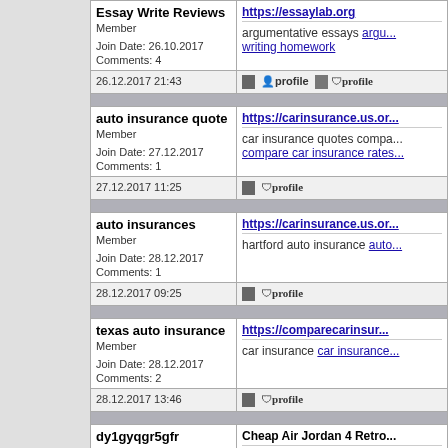| User | Content |
| --- | --- |
| Essay Write Reviews
Member
Join Date: 26.10.2017
Comments: 4 | https://essaylab.org
argumentative essays argu... writing homework |
| 26.12.2017 21:43 | [icon] profile |
| auto insurance quote
Member
Join Date: 27.12.2017
Comments: 1 | https://carinsurance.us.or...
car insurance quotes compa... compare car insurance rates... |
| 27.12.2017 11:25 | [icon] profile |
| auto insurances
Member
Join Date: 28.12.2017
Comments: 1 | https://carinsurance.us.or...
hartford auto insurance auto... |
| 28.12.2017 09:25 | [icon] profile |
| texas auto insurance
Member
Join Date: 28.12.2017
Comments: 2 | https://comparecarinsur...
car insurance car insurance... |
| 28.12.2017 13:46 | [icon] profile |
| dy1gyqgr5gfr
Member
Join Date: 26.05.2016
Comments: 969 | Cheap Air Jordan 4 Retro...
Thus, a combination of Disn... Studios can be the great es... seem like a limiting rule, it m... organized, it could make yo... |